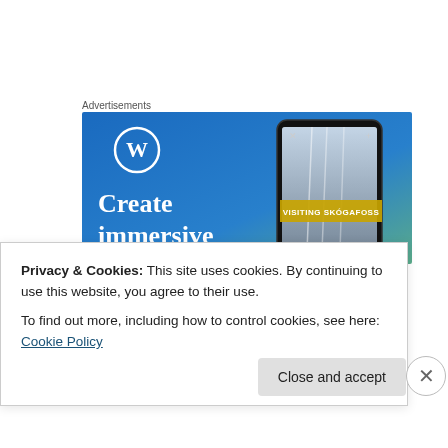Advertisements
[Figure (illustration): WordPress advertisement banner with blue-green gradient background, WordPress logo (W in circle), text 'Create immersive' in white serif font on left, and a smartphone showing waterfall image with label 'VISITING SKÓGAFOSS' on the right.]
[Figure (photo): Dark photo of glowing orange-red jack-o-lantern pumpkins against a black background.]
Privacy & Cookies: This site uses cookies. By continuing to use this website, you agree to their use.
To find out more, including how to control cookies, see here: Cookie Policy
Close and accept